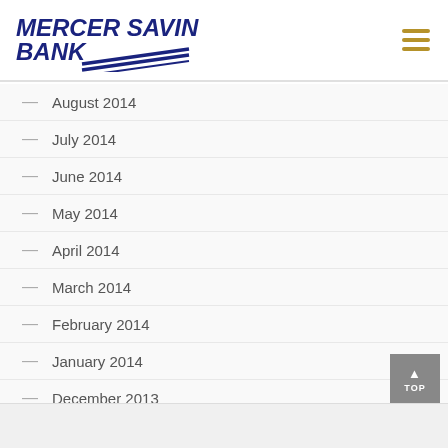[Figure (logo): Mercer Savings Bank logo with star and diagonal stripes]
August 2014
July 2014
June 2014
May 2014
April 2014
March 2014
February 2014
January 2014
December 2013